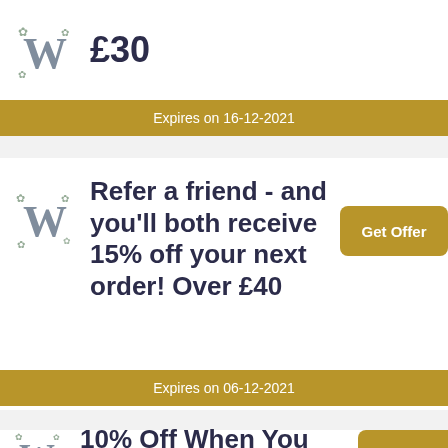£30
Expires on 16-12-2021
Refer a friend - and you'll both receive 15% off your next order! Over £40
Get Offer
Expires on 06-12-2021
10% Off When You Sign Up To
Get Offer